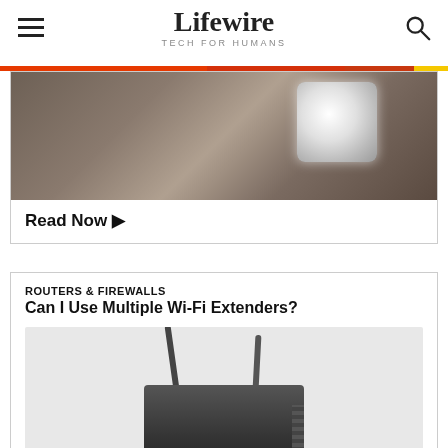Lifewire TECH FOR HUMANS
[Figure (photo): Person holding a tablet device, blurred lifestyle photo]
Read Now ▶
ROUTERS & FIREWALLS
Can I Use Multiple Wi-Fi Extenders?
[Figure (photo): Wi-Fi router/extender device with two antennas on a light gray background]